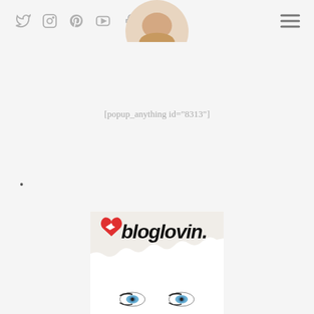Social icons header with Twitter, Instagram, Pinterest, YouTube, Facebook, LinkedIn and hamburger menu
[popup_anything id="8313"]
•
[Figure (illustration): Bloglovin logo illustration: a hand-drawn style image showing 'bloglovin.' text with a red heart containing a small airplane icon, overlaid on a sketch of a woman's face with blue eyes]